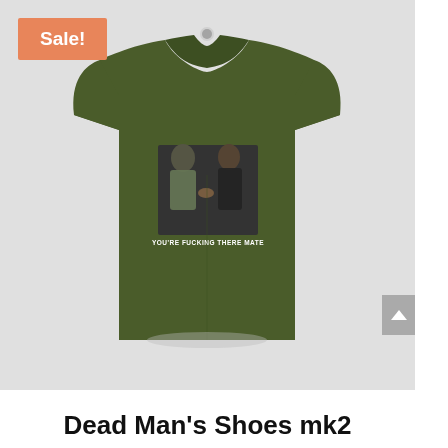[Figure (photo): Olive green t-shirt product photo featuring a printed graphic of two men facing each other with the text 'YOU'RE FUCKING THERE MATE' below the image. A 'Sale!' badge appears in the top-left corner of the product image.]
Dead Man's Shoes mk2